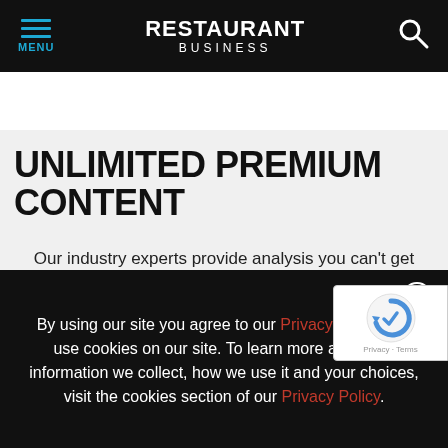MENU | RESTAURANT BUSINESS
[Figure (photo): Partial view of a laptop computer, showing the top edge/lid from above on a light gray background]
UNLIMITED PREMIUM CONTENT
Our industry experts provide analysis you can't get anywhere else. With unlimited premium content, have access to all content from our award-winning of editors, including unique insights, important
By using our site you agree to our Privacy Policy. We use cookies on our site. To learn more about the information we collect, how we use it and your choices, visit the cookies section of our Privacy Policy.